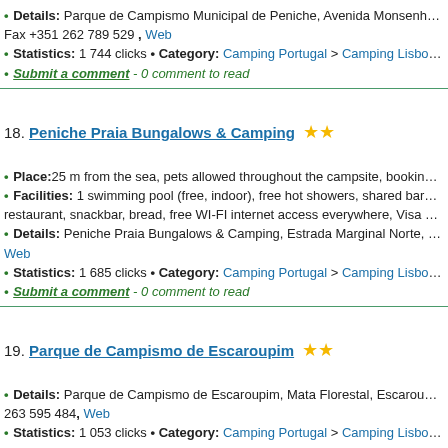Details: Parque de Campismo Municipal de Peniche, Avenida Monsenhor R. S. Bastos, 25... Fax +351 262 789 529, Web
Statistics: 1 744 clicks • Category: Camping Portugal > Camping Lisboa e Vale do Tejo
Submit a comment - 0 comment to read
18. Peniche Praia Bungalows & Camping ★★
Place: 25 m from the sea, pets allowed throughout the campsite, booking possible, open fro...
Facilities: 1 swimming pool (free, indoor), free hot showers, shared barbecue, public car p... restaurant, snackbar, bread, free WI-FI internet access everywhere, Visa card
Details: Peniche Praia Bungalows & Camping, Estrada Marginal Norte, 2520 Peniche, Lis... Web
Statistics: 1 685 clicks • Category: Camping Portugal > Camping Lisboa e Vale do Tejo
Submit a comment - 0 comment to read
19. Parque de Campismo de Escaroupim ★★
Details: Parque de Campismo de Escaroupim, Mata Florestal, Escaroupim, 2120-018 Salv... 263 595 484, Web
Statistics: 1 053 clicks • Category: Camping Portugal > Camping Lisboa e Vale do Tejo
Submit a comment - 0 comment to read